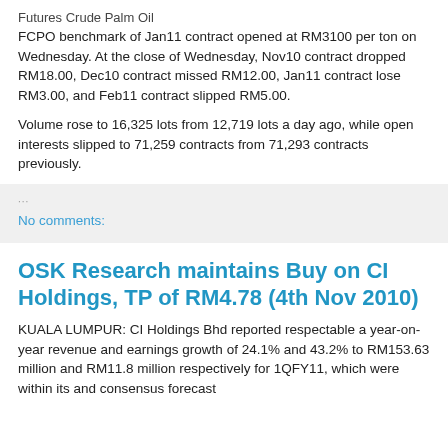Futures Crude Palm Oil
FCPO benchmark of Jan11 contract opened at RM3100 per ton on Wednesday. At the close of Wednesday, Nov10 contract dropped RM18.00, Dec10 contract missed RM12.00, Jan11 contract lose RM3.00, and Feb11 contract slipped RM5.00.
Volume rose to 16,325 lots from 12,719 lots a day ago, while open interests slipped to 71,259 contracts from 71,293 contracts previously.
No comments:
OSK Research maintains Buy on CI Holdings, TP of RM4.78 (4th Nov 2010)
KUALA LUMPUR: CI Holdings Bhd reported respectable a year-on-year revenue and earnings growth of 24.1% and 43.2% to RM153.63 million and RM11.8 million respectively for 1QFY11, which were within its and consensus forecast